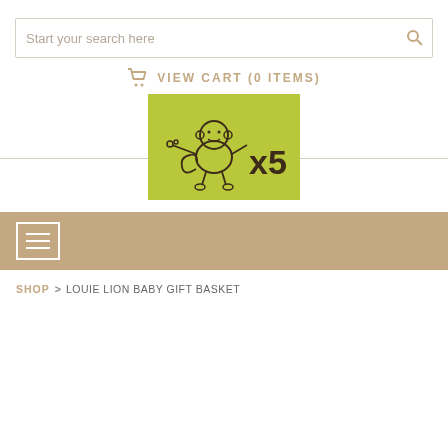[Figure (screenshot): Search bar with placeholder text 'Start your search here' and a search icon on the right]
VIEW CART (0 ITEMS)
[Figure (logo): Green square logo with a cartoon monkey character and 'x5' text in dark brown]
[Figure (screenshot): Navigation bar with hamburger menu icon on tan/khaki background]
SHOP > LOUIE LION BABY GIFT BASKET